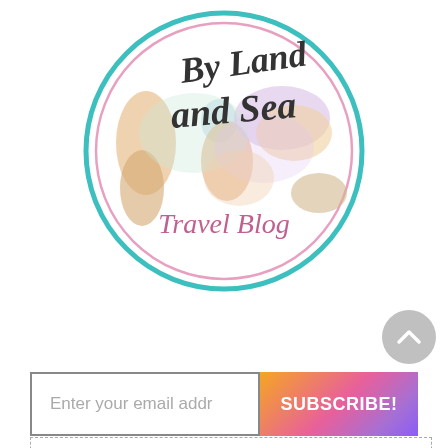[Figure (logo): By Land and Sea Travel Blog circular logo with watercolor world map, script text 'By Land and Sea' in dark gray, and 'Travel Blog' in pink/mauve, framed by teal and pink concentric circles]
[Figure (other): Gray circular scroll-to-top button with upward-pointing chevron arrow]
Enter your email addr
SUBSCRIBE!
Welcome to By Land and Sea! Disclaimer: